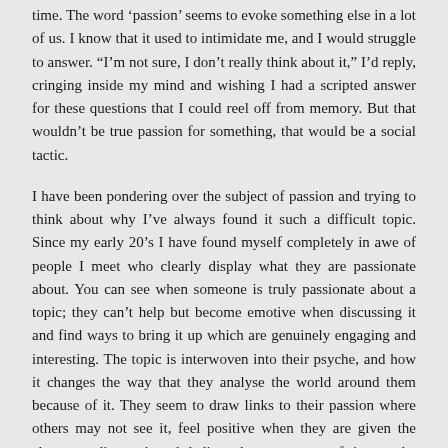time. The word ‘passion’ seems to evoke something else in a lot of us. I know that it used to intimidate me, and I would struggle to answer. “I’m not sure, I don’t really think about it,” I’d reply, cringing inside my mind and wishing I had a scripted answer for these questions that I could reel off from memory. But that wouldn’t be true passion for something, that would be a social tactic.
I have been pondering over the subject of passion and trying to think about why I’ve always found it such a difficult topic. Since my early 20’s I have found myself completely in awe of people I meet who clearly display what they are passionate about. You can see when someone is truly passionate about a topic; they can’t help but become emotive when discussing it and find ways to bring it up which are genuinely engaging and interesting. The topic is interwoven into their psyche, and how it changes the way that they analyse the world around them because of it. They seem to draw links to their passion where others may not see it, feel positive when they are given the chance to discuss it and dedicate large amounts of time to the benefit of it. A passion usually takes a lot of time, dedication and patience to develop. When I see traits like these in a person now, I feel a deep respect for them. That wasn’t always the case though, unfortunately.